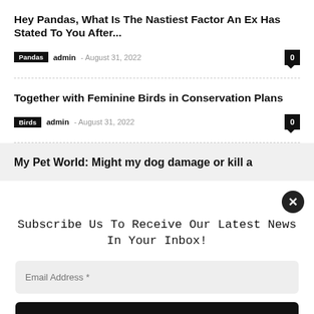Hey Pandas, What Is The Nastiest Factor An Ex Has Stated To You After...
Pandas  admin  August 31, 2022  0
Together with Feminine Birds in Conservation Plans
Birds  admin  August 31, 2022  0
My Pet World: Might my dog damage or kill a
Subscribe Us To Receive Our Latest News In Your Inbox!
Email Address *